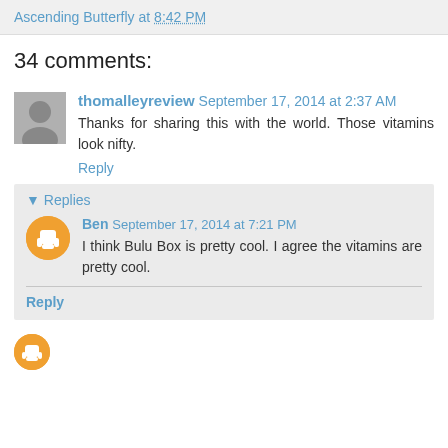Ascending Butterfly at 8:42 PM
34 comments:
thomalleyreview September 17, 2014 at 2:37 AM
Thanks for sharing this with the world. Those vitamins look nifty.
Reply
Replies
Ben September 17, 2014 at 7:21 PM
I think Bulu Box is pretty cool. I agree the vitamins are pretty cool.
Reply